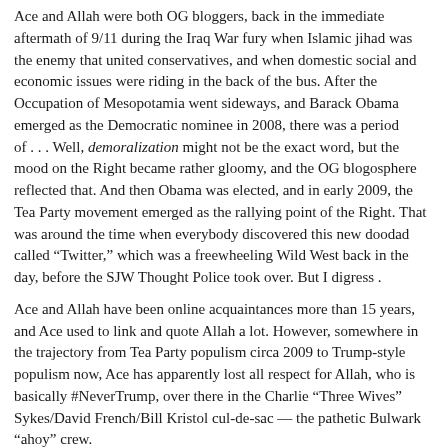Ace and Allah were both OG bloggers, back in the immediate aftermath of 9/11 during the Iraq War fury when Islamic jihad was the enemy that united conservatives, and when domestic social and economic issues were riding in the back of the bus. After the Occupation of Mesopotamia went sideways, and Barack Obama emerged as the Democratic nominee in 2008, there was a period of . . . Well, demoralization might not be the exact word, but the mood on the Right became rather gloomy, and the OG blogosphere reflected that. And then Obama was elected, and in early 2009, the Tea Party movement emerged as the rallying point of the Right. That was around the time when everybody discovered this new doodad called “Twitter,” which was a freewheeling Wild West back in the day, before the SJW Thought Police took over. But I digress .
Ace and Allah have been online acquaintances more than 15 years, and Ace used to link and quote Allah a lot. However, somewhere in the trajectory from Tea Party populism circa 2009 to Trump-style populism now, Ace has apparently lost all respect for Allah, who is basically #NeverTrump, over there in the Charlie “Three Wives” Sykes/David French/Bill Kristol cul-de-sac — the pathetic Bulwark “ahoy” crew.
It makes me sad, really. The one thing you never want to do, as a conservative media personality, is to become a punching bag for Ace, because when he starts punching, it’s like Rocky Balboa working over a side of beef in the freezer. He’s breaking ribs over there. It’s brutal.